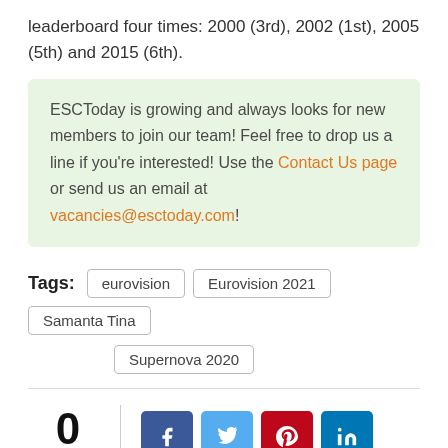leaderboard four times: 2000 (3rd), 2002 (1st), 2005 (5th) and 2015 (6th).
ESCToday is growing and always looks for new members to join our team! Feel free to drop us a line if you're interested! Use the Contact Us page or send us an email at vacancies@esctoday.com!
Tags: eurovision | Eurovision 2021 | Samanta Tina | Supernova 2020
0 SHARES